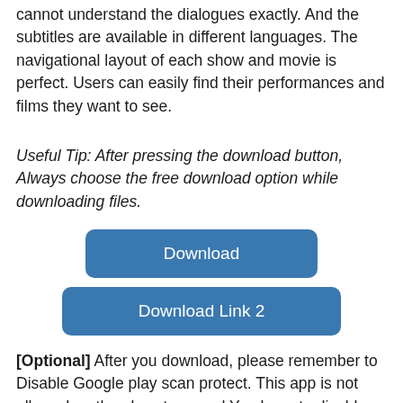cannot understand the dialogues exactly. And the subtitles are available in different languages. The navigational layout of each show and movie is perfect. Users can easily find their performances and films they want to see.
Useful Tip: After pressing the download button, Always choose the free download option while downloading files.
[Figure (other): Blue rounded rectangle button labeled 'Download']
[Figure (other): Blue rounded rectangle button labeled 'Download Link 2']
[Optional] After you download, please remember to Disable Google play scan protect. This app is not allowed on the play store, and You have to disable the play watch function manually. Don't Worry. This application is entirely